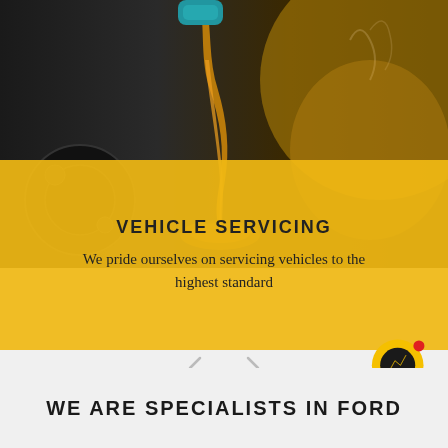[Figure (photo): Close-up photo of golden motor oil being poured from a blue container into a black engine component, with warm golden bokeh light in the background]
VEHICLE SERVICING
We pride ourselves on servicing vehicles to the highest standard
[Figure (other): Slideshow navigation arrows: left arrow and right arrow for carousel navigation]
[Figure (other): Yellow circular Messenger chat button with lightning bolt icon and red notification dot]
WE ARE SPECIALISTS IN FORD